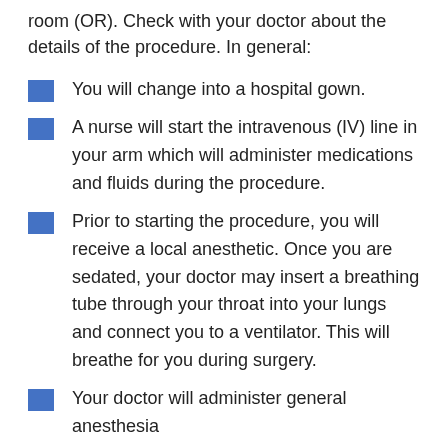room (OR). Check with your doctor about the details of the procedure. In general:
You will change into a hospital gown.
A nurse will start the intravenous (IV) line in your arm which will administer medications and fluids during the procedure.
Prior to starting the procedure, you will receive a local anesthetic. Once you are sedated, your doctor may insert a breathing tube through your throat into your lungs and connect you to a ventilator. This will breathe for you during surgery.
Your doctor will administer general anesthesia